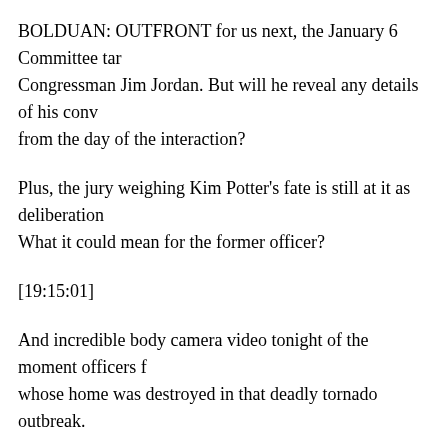BOLDUAN: OUTFRONT for us next, the January 6 Committee tar Congressman Jim Jordan. But will he reveal any details of his conv from the day of the interaction?
Plus, the jury weighing Kim Potter's fate is still at it as deliberation What it could mean for the former officer?
[19:15:01]
And incredible body camera video tonight of the moment officers f whose home was destroyed in that deadly tornado outbreak.
(BEGIN VIDEO CLIP)
UNIDENTIFIED MALE: There you go.